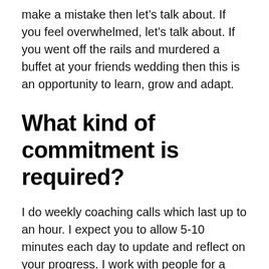make a mistake then let's talk about. If you feel overwhelmed, let's talk about. If you went off the rails and murdered a buffet at your friends wedding then this is an opportunity to learn, grow and adapt.
What kind of commitment is required?
I do weekly coaching calls which last up to an hour. I expect you to allow 5-10 minutes each day to update and reflect on your progress. I work with people for a minimum of 3 months but most people